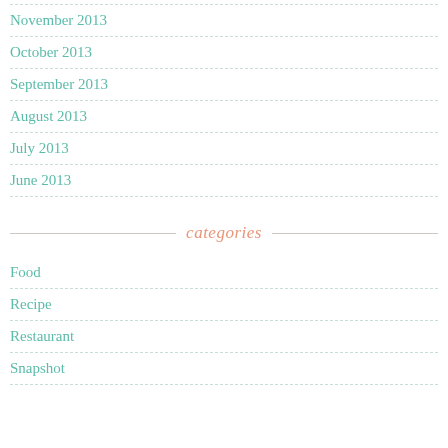November 2013
October 2013
September 2013
August 2013
July 2013
June 2013
categories
Food
Recipe
Restaurant
Snapshot